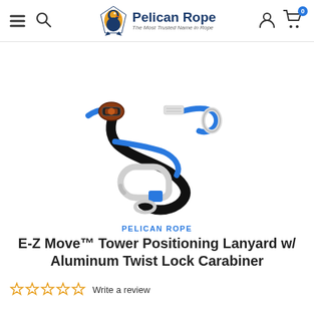Pelican Rope - The Most Trusted Name in Rope
[Figure (photo): E-Z Move Tower Positioning Lanyard with Aluminum Twist Lock Carabiner product photo on white background, showing a blue and black rope lanyard with a carabiner and adjustment hardware]
PELICAN ROPE E-Z Move™ Tower Positioning Lanyard w/ Aluminum Twist Lock Carabiner
Write a review